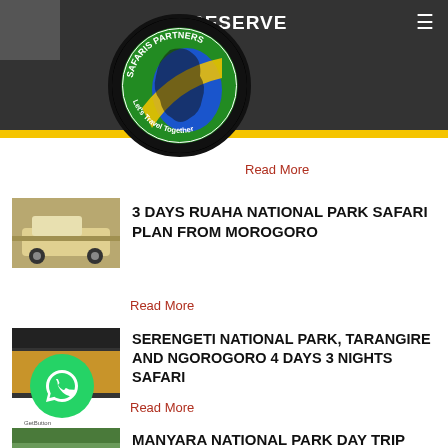SAFARIS PARTNERS
RESERVE
Read More
3 DAYS RUAHA NATIONAL PARK SAFARI PLAN FROM MOROGORO
Read More
SERENGETI NATIONAL PARK, TARANGIRE AND NGOROGORO 4 DAYS 3 NIGHTS SAFARI
Read More
MANYARA NATIONAL PARK DAY TRIP FROM ARUSHA
[Figure (logo): Safaris Partners circular logo with Africa map, animals, Tanzania flag colors and text Let's Travel Together]